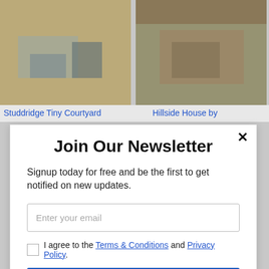[Figure (photo): Photo of a modern courtyard with outdoor furniture and wooden fence]
[Figure (photo): Photo of a hillside house with stone exterior and landscaping]
Studdridge Tiny Courtyard
Hillside House by
Join Our Newsletter
Signup today for free and be the first to get notified on new updates.
Enter your email
I agree to the Terms & Conditions and Privacy Policy.
Subscribe
powered by MailMunch